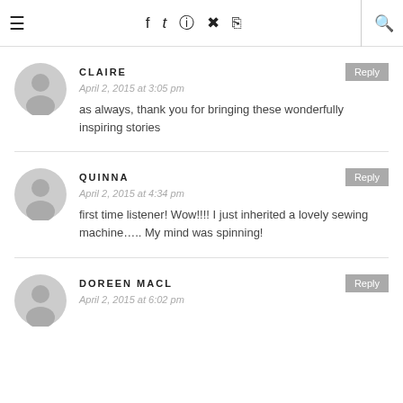≡  f  t  ☷  ⊕  ⌁  🔍
CLAIRE
April 2, 2015 at 3:05 pm
as always, thank you for bringing these wonderfully inspiring stories
QUINNA
April 2, 2015 at 4:34 pm
first time listener! Wow!!!! I just inherited a lovely sewing machine….. My mind was spinning!
DOREEN MACL
April 2, 2015 at 6:02 pm